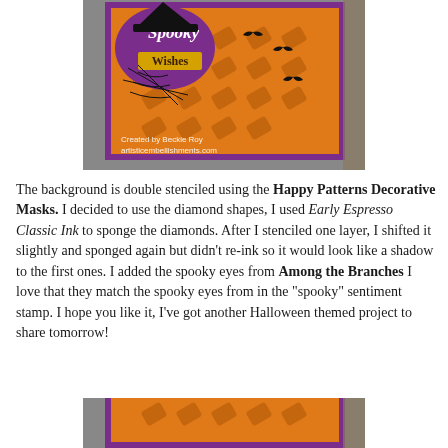[Figure (photo): Halloween card with orange diamond-patterned background, purple border, black witch hat, spider web, bats, and text 'Spooky Wishes'. Watermark: Created by Beckie Roy, artisticembellishments.com]
The background is double stenciled using the Happy Patterns Decorative Masks. I decided to use the diamond shapes, I used Early Espresso Classic Ink to sponge the diamonds. After I stenciled one layer, I shifted it slightly and sponged again but didn't re-ink so it would look like a shadow to the first ones. I added the spooky eyes from Among the Branches I love that they match the spooky eyes from in the "spooky" sentiment stamp. I hope you like it, I've got another Halloween themed project to share tomorrow!
[Figure (photo): Partial view of another Halloween themed card with purple border and orange background, bottom of page.]